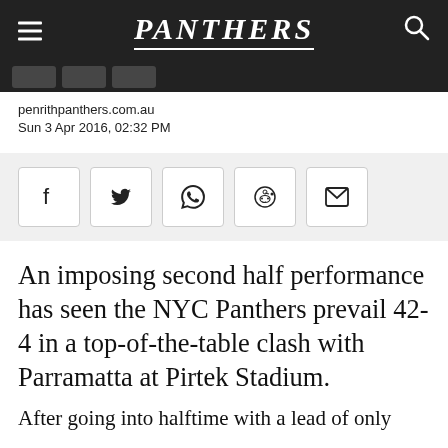PANTHERS
penrithpanthers.com.au
Sun 3 Apr 2016, 02:32 PM
[Figure (infographic): Social share buttons row: Facebook, Twitter, WhatsApp, Reddit, Email]
An imposing second half performance has seen the NYC Panthers prevail 42-4 in a top-of-the-table clash with Parramatta at Pirtek Stadium.
After going into halftime with a lead of only